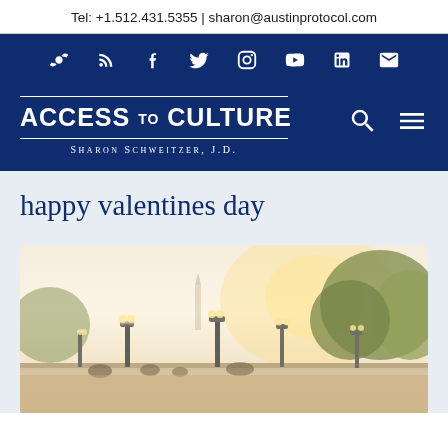Tel: +1.512.431.5355 | sharon@austinprotocol.com
[Figure (other): Social media icons bar on dark navy background: RSS, Facebook, Twitter, Instagram, YouTube, LinkedIn, Email]
[Figure (logo): Access to Culture logo with Sharon Schweitzer, J.D. subtitle on navy background, with search and menu icons]
happy valentines day
[Figure (photo): Outdoor scene with lamp posts along a bridge or promenade, golden sunlight filtering through trees, hazy warm afternoon light]